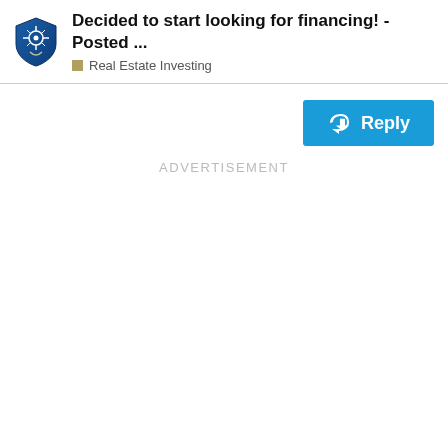Decided to start looking for financing! - Posted ...
Real Estate Investing
Reply
ADVERTISEMENT